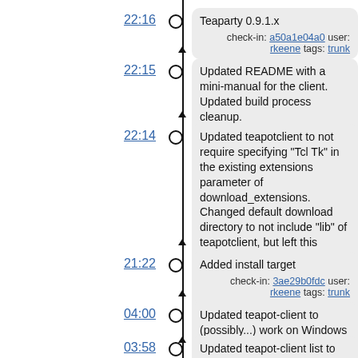22:16 — Teaparty 0.9.1.x — check-in: a50a1e04a0 user: rkeene tags: trunk
22:15 — Updated README with a mini-manual for the client. Updated build process cleanup. — check-in: cce162f50e user: rkeene tags: trunk
22:14 — Updated teapotclient to not require specifying "Tcl Tk" in the existing extensions parameter of download_extensions. Changed default download directory to not include "lib" of teapotclient, but left this behaviour in the "teapot-client.tcl" script Added examples — check-in: 68f9c46716 user: rkeene tags: trunk
21:22 — Added install target — check-in: 3ae29b0fdc user: rkeene tags: trunk
04:00 — Updated teapot-client to (possibly...) work on Windows — check-in: 847b413b81 user: rkeene tags: trunk
03:58 — Updated teapot-client list to default to using the ...